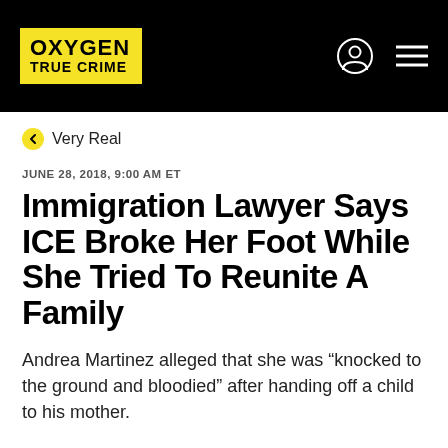OXYGEN TRUE CRIME
Very Real
JUNE 28, 2018, 9:00 AM ET
Immigration Lawyer Says ICE Broke Her Foot While She Tried To Reunite A Family
Andrea Martinez alleged that she was “knocked to the ground and bloodied” after handing off a child to his mother.